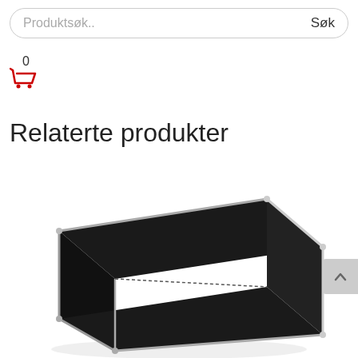Produktsøk..   Søk
0
Relaterte produkter
[Figure (photo): A black rectangular speaker or audio device with silver/chrome edges and rounded corners, photographed from a slightly elevated angle against a white background.]